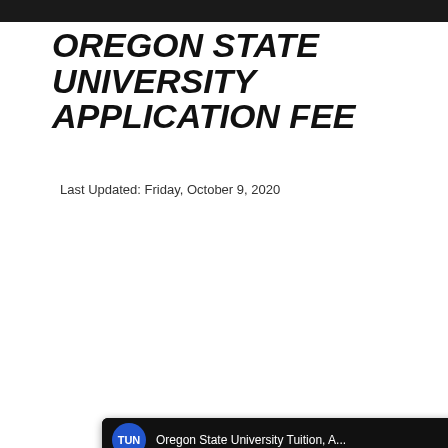OREGON STATE UNIVERSITY APPLICATION FEE
Last Updated: Friday, October 9, 2020
[Figure (screenshot): YouTube video thumbnail for 'Oregon State University Tuition, A...' by TUN channel, showing Oregon State University logo on white pill shape over red decorative background with 'Tuition & Success Analysis' text label at bottom and play button in center.]